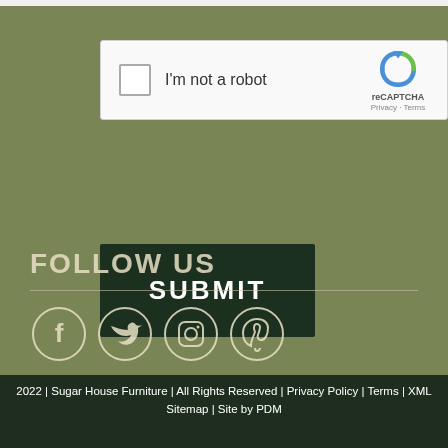[Figure (other): reCAPTCHA widget with checkbox labeled 'I'm not a robot' and Google reCAPTCHA logo with Privacy and Terms links]
SUBMIT
FOLLOW US
[Figure (other): Social media icons: Facebook, Twitter, Instagram, Pinterest — each inside a circular outline]
2022 | Sugar House Furniture | All Rights Reserved | Privacy Policy | Terms | XML Sitemap | Site by PDM